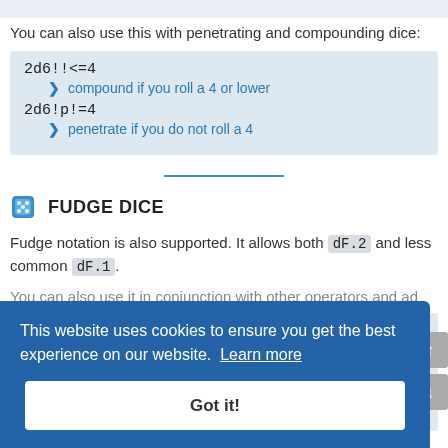You can also use this with penetrating and compounding dice:
2d6!!<=4  ▶ compound if you roll a 4 or lower
2d6!p!=4  ▶ penetrate if you do not roll a 4
FUDGE DICE
Fudge notation is also supported. It allows both dF.2 and less common dF.1.
You can also use it in conjunction with other operators and ad...
dF  ▶ this is the same as dF.2
4dF.2  ▶ roll 4 standard fudge dice
4dF.2-L
This website uses cookies to ensure you get the best experience on our website. Learn more